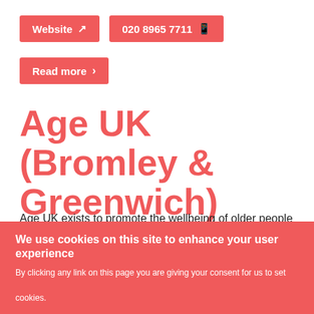Website
020 8965 7711
Read more
Age UK (Bromley & Greenwich)
Age UK exists to promote the wellbeing of older people and help make life a fulfilling and enjoyable experience within the local community.
Local Age UK branches provide advice, information, b[enefitting] services, activities, education classes and so much more.
[Figure (other): EXIT SITE button with arrow icon in red]
We use cookies on this site to enhance your user experience
By clicking any link on this page you are giving your consent for us to set cookies.